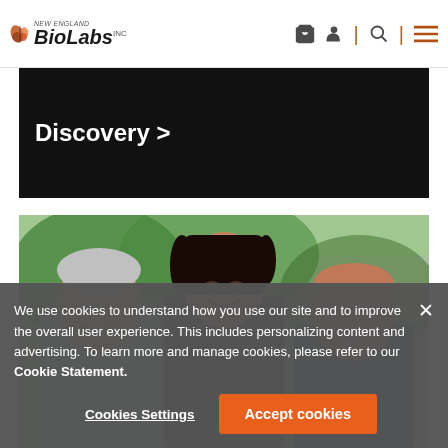[Figure (logo): New England BioLabs logo with butterfly icon]
[Figure (screenshot): Dark banner with 'Discovery >' text in white bold]
[Figure (photo): Three people (two men and one woman) smiling outdoors with green background]
We use cookies to understand how you use our site and to improve the overall user experience. This includes personalizing content and advertising. To learn more and manage cookies, please refer to our Cookie Statement.
Cookies Settings
Accept cookies